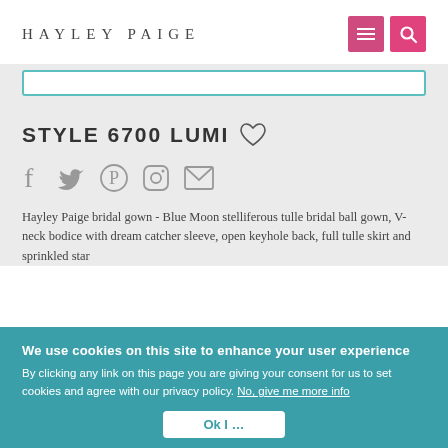HAYLEY PAIGE
[Figure (screenshot): Search bar with teal border]
STYLE 6700 LUMI
[Figure (infographic): Social media icons: Facebook, Twitter, Pinterest, Instagram, Email]
Hayley Paige bridal gown - Blue Moon stelliferous tulle bridal ball gown, V-neck bodice with dream catcher sleeve, open keyhole back, full tulle skirt and sprinkled star...
We use cookies on this site to enhance your user experience
By clicking any link on this page you are giving your consent for us to set cookies and agree with our privacy policy. No, give me more info